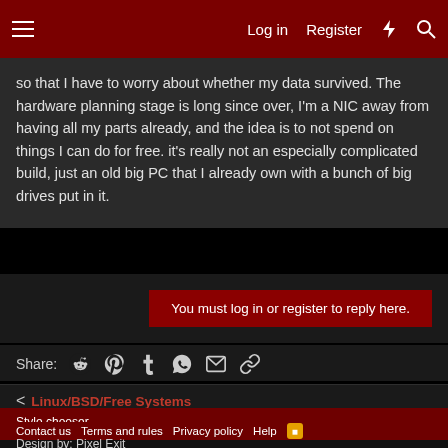Log in  Register
so that I have to worry about whether my data survived. The hardware planning stage is long since over, I'm a NIC away from having all my parts already, and the idea is to not spend on things I can do for free. it's really not an especially complicated build, just an old big PC that I already own with a bunch of big drives put in it.
You must log in or register to reply here.
Share:
Linux/BSD/Free Systems
Style chooser
Contact us  Terms and rules  Privacy policy  Help
Design by: Pixel Exit